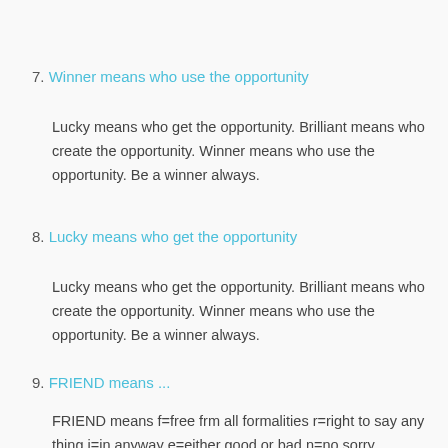7. Winner means who use the opportunity
Lucky means who get the opportunity. Brilliant means who create the opportunity. Winner means who use the opportunity. Be a winner always.
8. Lucky means who get the opportunity
Lucky means who get the opportunity. Brilliant means who create the opportunity. Winner means who use the opportunity. Be a winner always.
9. FRIEND means ...
FRIEND means f=free frm all formalities r=right to say any thing i=in anyway e=either good or bad n=no sorry